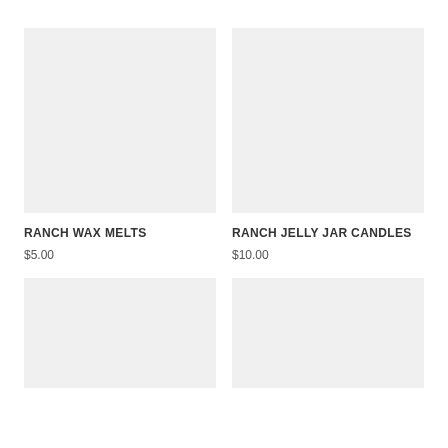[Figure (photo): Light gray placeholder image for Ranch Wax Melts product]
RANCH WAX MELTS
$5.00
[Figure (photo): Light gray placeholder image for Ranch Jelly Jar Candles product]
RANCH JELLY JAR CANDLES
$10.00
[Figure (photo): Light gray placeholder image for bottom-left product]
[Figure (photo): Light gray placeholder image for bottom-right product]